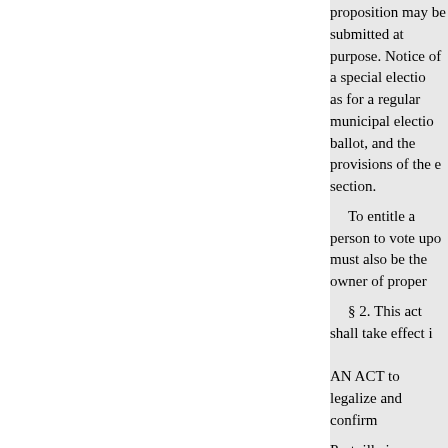proposition may be submitted at purpose. Notice of a special electio as for a regular municipal electio ballot, and the provisions of the e section.
To entitle a person to vote upo must also be the owner of proper
§ 2. This act shall take effect i
AN ACT to legalize and confirm
Portville in Cattaraugus county, subsequent to a special election h twentyfour, relative to borrowing certificates of indebtedness of th the payment of the principal and approval of the Governor. Passed three-fifths being present. The Pe enact as follows:
Section 1. All acts and proceeding village of Portville, Catt...